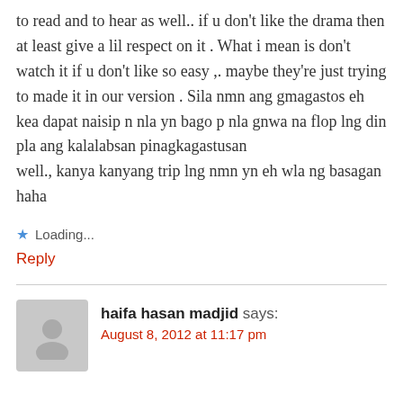to read and to hear as well.. if u don't like the drama then at least give a lil respect on it . What i mean is don't watch it if u don't like so easy ,. maybe they're just trying to made it in our version . Sila nmn ang gmagastos eh kea dapat naisip n nla yn bago p nla gnwa na flop lng din pla ang kalalabsan pinagkagastusan
well., kanya kanyang trip lng nmn yn eh wla ng basagan
haha
Loading...
Reply
haifa hasan madjid says:
August 8, 2012 at 11:17 pm